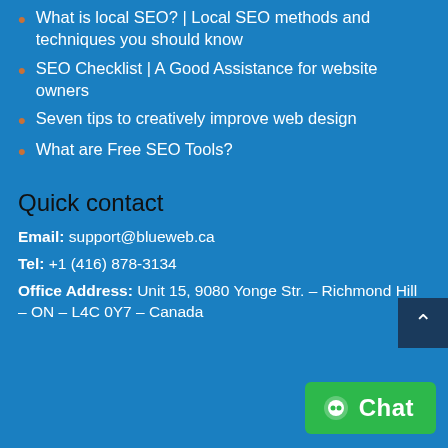What is local SEO? | Local SEO methods and techniques you should know
SEO Checklist | A Good Assistance for website owners
Seven tips to creatively improve web design
What are Free SEO Tools?
Quick contact
Email: support@blueweb.ca
Tel: +1 (416) 878-3134
Office Address: Unit 15, 9080 Yonge Str. – Richmond Hill – ON – L4C 0Y7 – Canada